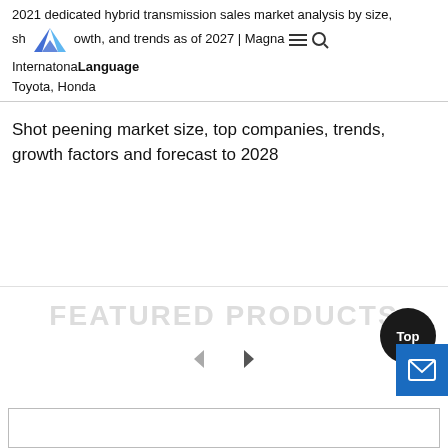2021 dedicated hybrid transmission sales market analysis by size, sh[logo]owth, and trends as of 2027 | Magna International, Language Toyota, Honda
Shot peening market size, top companies, trends, growth factors and forecast to 2028
[Figure (other): Featured Products watermark text with carousel navigation arrows]